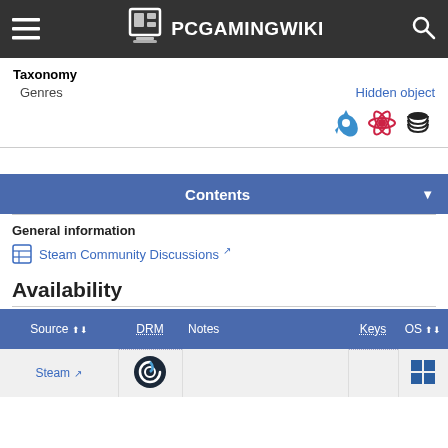PCGamingWiki
| Taxonomy |  |
| --- | --- |
| Genres | Hidden object |
Contents
General information
Steam Community Discussions
Availability
| Source | DRM | Notes | Keys | OS |
| --- | --- | --- | --- | --- |
| Steam | (Steam icon) |  |  | (Windows icon) |